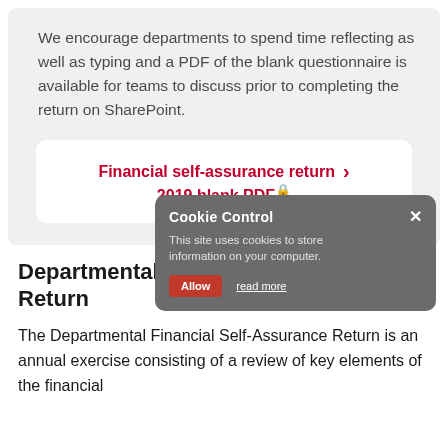We encourage departments to spend time reflecting as well as typing and a PDF of the blank questionnaire is available for teams to discuss prior to completing the return on SharePoint.
Financial self-assurance return 2019 blank PDF
Departmental Financial Self-Assurance Return
The Departmental Financial Self-Assurance Return is an annual exercise consisting of a review of key elements of the financial...